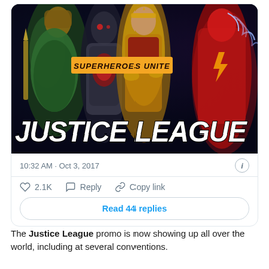[Figure (screenshot): Tweet card showing Justice League movie promotional poster with superheroes (Aquaman, Cyborg, Wonder Woman, The Flash) on dark background with orange badge reading 'SUPERHEROES UNITE' and large white italic text 'JUSTICE LEAGUE'. Below: timestamp '10:32 AM · Oct 3, 2017', like count '2.1K', Reply, Copy link actions, and 'Read 44 replies' button.]
The Justice League promo is now showing up all over the world, including at several conventions.